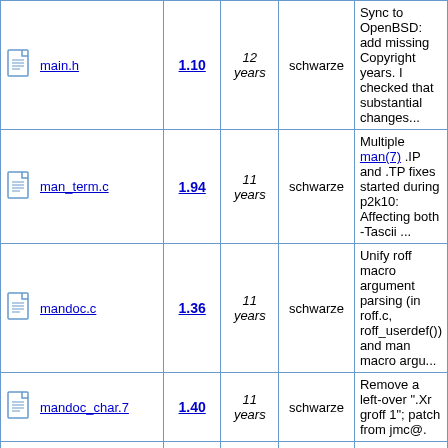| File | Version | Age | Author | Description |
| --- | --- | --- | --- | --- |
| main.h | 1.10 | 12 years | schwarze | Sync to OpenBSD: add missing Copyright years. I checked that substantial changes... |
| man_term.c | 1.94 | 11 years | schwarze | Multiple man(7) .IP and .TP fixes started during p2k10: Affecting both -Tascii ... |
| mandoc.c | 1.36 | 11 years | schwarze | Unify roff macro argument parsing (in roff.c, roff_userdef()) and man macro argu... |
| mandoc_char.7 | 1.40 | 11 years | schwarze | Remove a left-over ".Xr groff 1"; patch from jmc@. |
| mdoc_validate.c | 1.151 | 11 years | schwarze | Partial cleanup of argument count validation in mdoc(7): * Do not segfault on e... |
| roff.c | 1.120 | 11 years | schwarze | Calling a macro with fewer arguments than it is defined with is OK; the remainin... |
| term_ps.c | 1.45 | 11 years | schwarze | Merge from OpenBSD right after 1.10.6; now back to full sync. * |